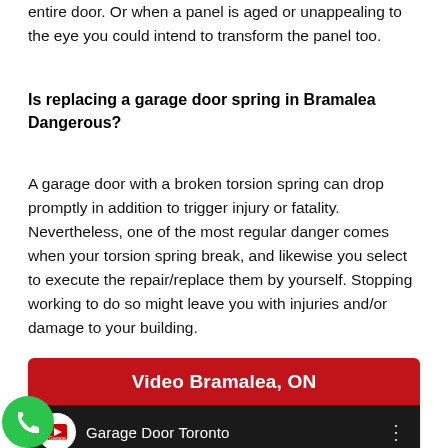entire door. Or when a panel is aged or unappealing to the eye you could intend to transform the panel too.
Is replacing a garage door spring in Bramalea Dangerous?
A garage door with a broken torsion spring can drop promptly in addition to trigger injury or fatality. Nevertheless, one of the most regular danger comes when your torsion spring break, and likewise you select to execute the repair/replace them by yourself. Stopping working to do so might leave you with injuries and/or damage to your building.
[Figure (screenshot): Video embed box with red header 'Video Bramalea, ON' and a dark YouTube video thumbnail showing 'Garage Door Toronto' channel name with menu dots icon.]